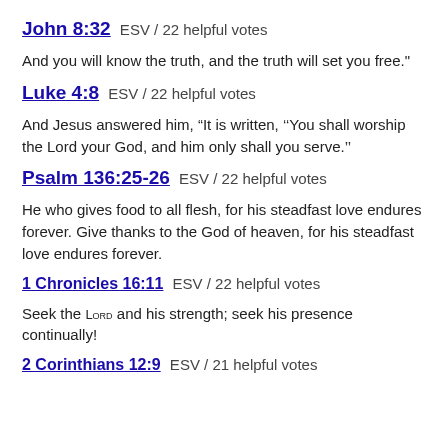John 8:32 ESV / 22 helpful votes
And you will know the truth, and the truth will set you free."
Luke 4:8 ESV / 22 helpful votes
And Jesus answered him, “It is written, ‘’You shall worship the Lord your God, and him only shall you serve.’”
Psalm 136:25-26 ESV / 22 helpful votes
He who gives food to all flesh, for his steadfast love endures forever. Give thanks to the God of heaven, for his steadfast love endures forever.
1 Chronicles 16:11 ESV / 22 helpful votes
Seek the Lord and his strength; seek his presence continually!
2 Corinthians 12:9 ESV / 21 helpful votes